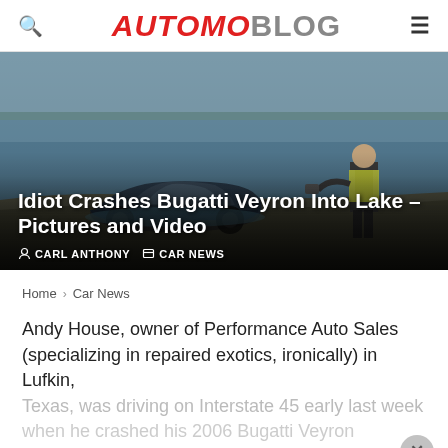AUTOMOBLOG
[Figure (photo): Hero photo showing a Bugatti Veyron crashed into a lake, partially submerged, with a man in a high-vis vest standing nearby at the water's edge. Water visible in background.]
Idiot Crashes Bugatti Veyron Into Lake – Pictures and Video
CARL ANTHONY   CAR NEWS
Home > Car News
Andy House, owner of Performance Auto Sales (specializing in repaired exotics, ironically) in Lufkin, Texas, was driving on Interstate 45 early last week when he crashed his 2006 Bugatti Veyron...